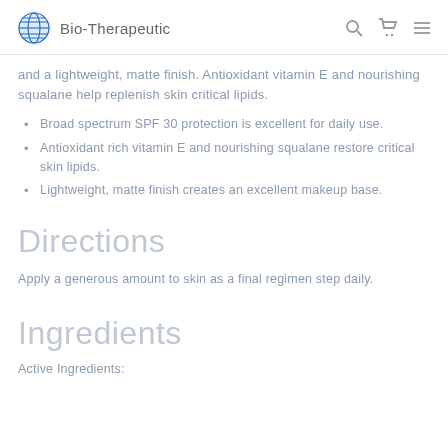Bio-Therapeutic
and a lightweight, matte finish. Antioxidant vitamin E and nourishing squalane help replenish skin critical lipids.
Broad spectrum SPF 30 protection is excellent for daily use.
Antioxidant rich vitamin E and nourishing squalane restore critical skin lipids.
Lightweight, matte finish creates an excellent makeup base.
Directions
Apply a generous amount to skin as a final regimen step daily.
Ingredients
Active Ingredients: